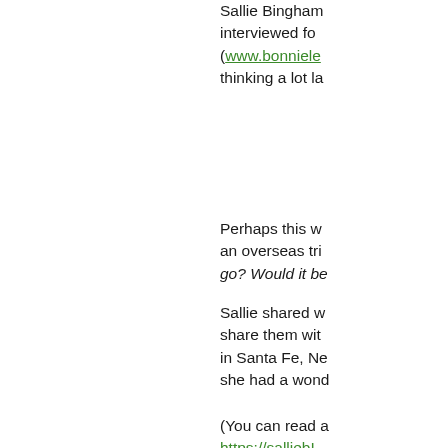Sallie Bingham interviewed fo (www.bonniele thinking a lot la
Perhaps this w an overseas tri go? Would it be
Sallie shared w share them wit in Santa Fe, Ne she had a wond
(You can read a https://salliebI
So this week Sa in her own wor